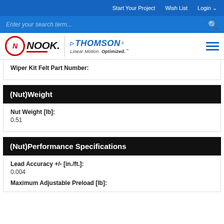Start Your Project   Wish List   Login
Enter your search term...
[Figure (logo): Nook Industries and Thomson Linear Motion Optimized logos with hamburger menu icon]
Wiper Kit Felt Part Number:
(Nut)Weight
Nut Weight [lb]:
0.51
(Nut)Performance Specifications
Lead Accuracy +/- [in./ft.]:
0.004
Maximum Adjustable Preload [lb]: